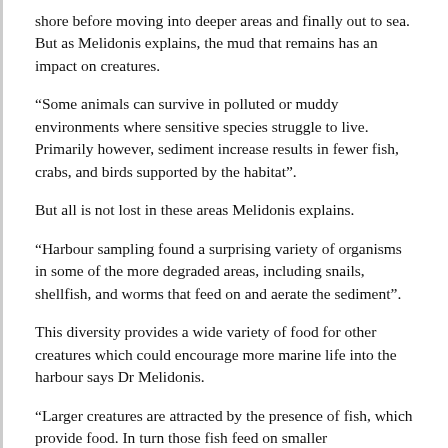shore before moving into deeper areas and finally out to sea. But as Melidonis explains, the mud that remains has an impact on creatures.
“Some animals can survive in polluted or muddy environments where sensitive species struggle to live. Primarily however, sediment increase results in fewer fish, crabs, and birds supported by the habitat”.
But all is not lost in these areas Melidonis explains.
“Harbour sampling found a surprising variety of organisms in some of the more degraded areas, including snails, shellfish, and worms that feed on and aerate the sediment”.
This diversity provides a wide variety of food for other creatures which could encourage more marine life into the harbour says Dr Melidonis.
“Larger creatures are attracted by the presence of fish, which provide food. In turn those fish feed on smaller